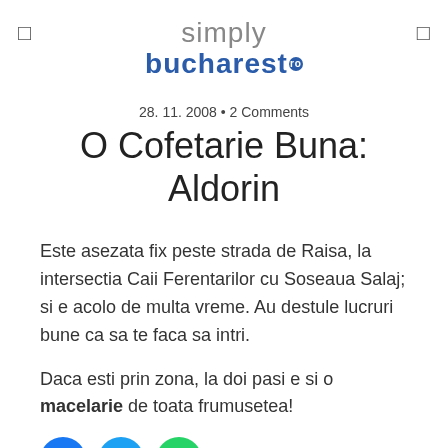simply bucharest .ro
28. 11. 2008 • 2 Comments
O Cofetarie Buna: Aldorin
Este asezata fix peste strada de Raisa, la intersectia Caii Ferentarilor cu Soseaua Salaj; si e acolo de multa vreme. Au destule lucruri bune ca sa te faca sa intri.
Daca esti prin zona, la doi pasi e si o macelarie de toata frumusetea!
[Figure (other): Social share buttons: Facebook, Twitter, WhatsApp]